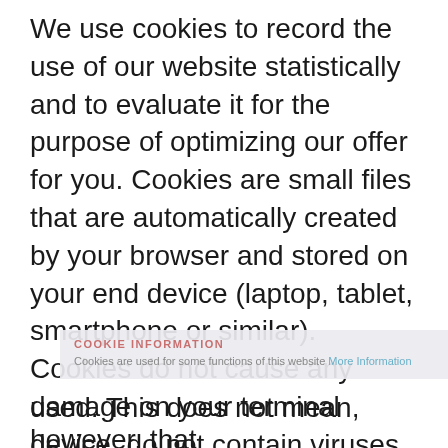We use cookies to record the use of our website statistically and to evaluate it for the purpose of optimizing our offer for you. Cookies are small files that are automatically created by your browser and stored on your end device (laptop, tablet, smartphone or similar). Cookies do not cause any damage on your terminal device, do not contain viruses, trojans or other malware. Information is stored in the cookie that is related to the specific terminal device used. This does not mean, however, that we obtain direct knowledge of your